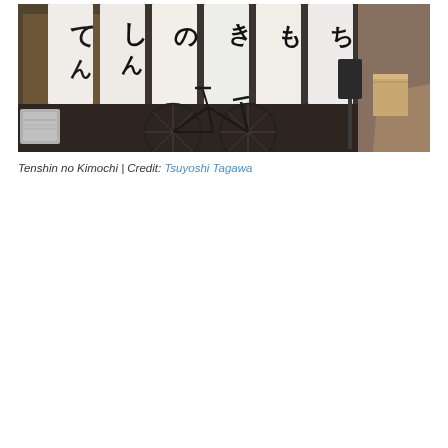[Figure (photo): Exterior of a Japanese restaurant called Tenshin no Kimochi. White noren (fabric dividers) with black Japanese calligraphy hang in the entrance. A bicycle is parked outside. The building has a dark wooden facade. A narrow alley extends to the right. The scene is lit with warm interior lighting.]
Tenshin no Kimochi | Credit: Tsuyoshi Tagawa